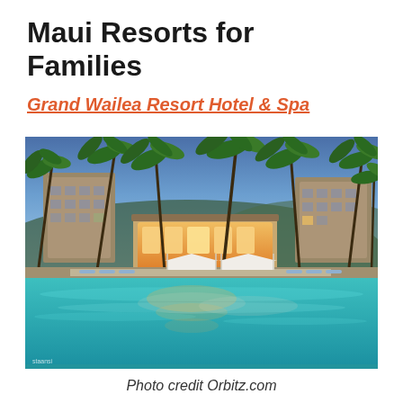Maui Resorts for Families
Grand Wailea Resort Hotel & Spa
[Figure (photo): Exterior night/dusk photo of Grand Wailea Resort Hotel & Spa, Maui. Shows a large resort complex with illuminated buildings, palm trees, white cabanas, lounge chairs, and a large turquoise pool in the foreground reflecting the lights. Blue twilight sky in the background.]
Photo credit Orbitz.com